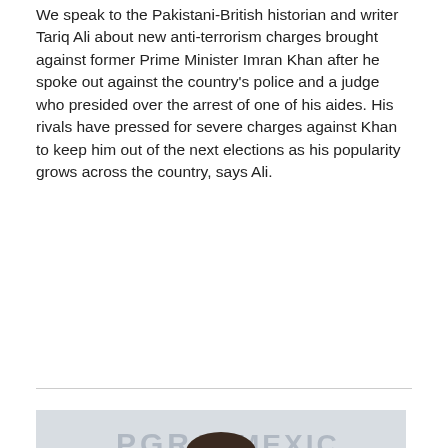We speak to the Pakistani-British historian and writer Tariq Ali about new anti-terrorism charges brought against former Prime Minister Imran Khan after he spoke out against the country's police and a judge who presided over the arrest of one of his aides. His rivals have pressed for severe charges against Khan to keep him out of the next elections as his popularity grows across the country, says Ali.
[Figure (photo): A man in a dark pinstripe suit at a press conference podium with a microphone in front of him. Behind him is a backdrop with PGR, MEXICO, and GOBIERNO DE LA REPÚBLICA logos.]
“A Crime of the State”: Mexico’s